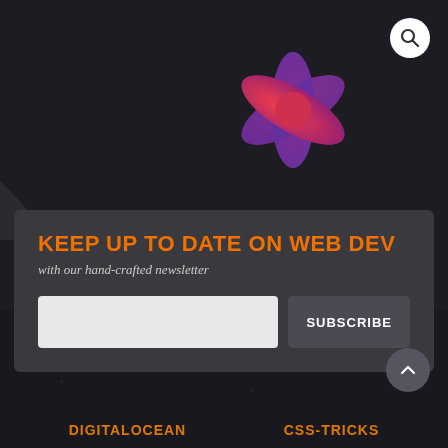[Figure (logo): CSS-Tricks asterisk star logo in red-to-purple gradient on dark background]
KEEP UP TO DATE ON WEB DEV
with our hand-crafted newsletter
CSS-Tricks is powered by DigitalOcean.
DIGITALOCEAN
CSS-TRICKS